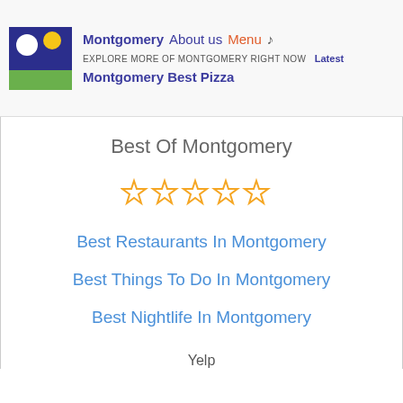Montgomery  About us  Menu  ♪  EXPLORE MORE OF MONTGOMERY RIGHT NOW  Latest  Montgomery Best Pizza
Best Of Montgomery
[Figure (other): Five gold outline stars rating display]
Best Restaurants In Montgomery
Best Things To Do In Montgomery
Best Nightlife In Montgomery
Yelp